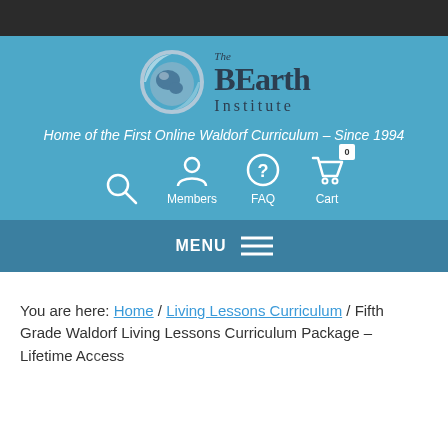[Figure (logo): The BEarth Institute logo with globe graphic and text]
Home of the First Online Waldorf Curriculum – Since 1994
[Figure (infographic): Navigation icons: search, members (person), FAQ (question mark circle), cart with badge 0]
MENU
You are here: Home / Living Lessons Curriculum / Fifth Grade Waldorf Living Lessons Curriculum Package – Lifetime Access